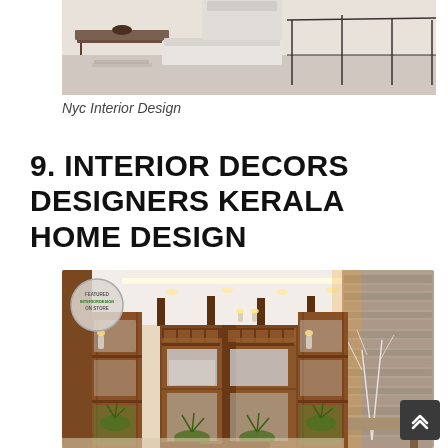[Figure (photo): Interior living room photo showing minimalist furniture with low tables and seating, partially cropped at top]
Nyc Interior Design
9. INTERIOR DECORS DESIGNERS KERALA HOME DESIGN
[Figure (photo): Kerala home interior design showing ornate wooden double door with decorative carved panels, wall sconces, recessed ceiling lights, feature stone wall with backlit niche and white branches, and a small entry bench]